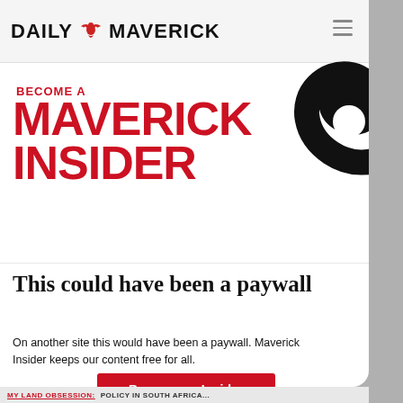DAILY MAVERICK
[Figure (logo): Daily Maverick logo with eagle/bird emblem between DAILY and MAVERICK text]
[Figure (illustration): Large black and white spiral/swirl decorative graphic on the right side of the promo block]
BECOME A
MAVERICK INSIDER
This could have been a paywall
On another site this would have been a paywall. Maverick Insider keeps our content free for all.
Become an Insider
MY LAND OBSESSION: POLICY IN SOUTH AFRICA...